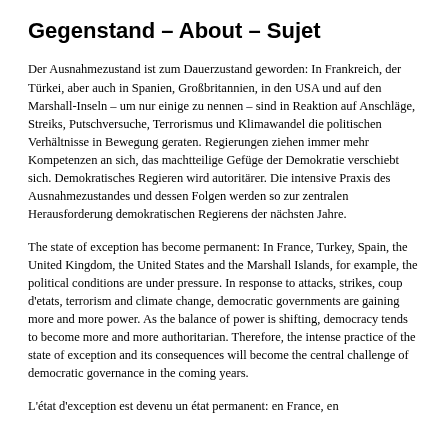Gegenstand – About – Sujet
Der Ausnahmezustand ist zum Dauerzustand geworden: In Frankreich, der Türkei, aber auch in Spanien, Großbritannien, in den USA und auf den Marshall-Inseln – um nur einige zu nennen – sind in Reaktion auf Anschläge, Streiks, Putschversuche, Terrorismus und Klimawandel die politischen Verhältnisse in Bewegung geraten. Regierungen ziehen immer mehr Kompetenzen an sich, das machtteilige Gefüge der Demokratie verschiebt sich. Demokratisches Regieren wird autoritärer. Die intensive Praxis des Ausnahmezustandes und dessen Folgen werden so zur zentralen Herausforderung demokratischen Regierens der nächsten Jahre.
The state of exception has become permanent: In France, Turkey, Spain, the United Kingdom, the United States and the Marshall Islands, for example, the political conditions are under pressure. In response to attacks, strikes, coup d'etats, terrorism and climate change, democratic governments are gaining more and more power. As the balance of power is shifting, democracy tends to become more and more authoritarian. Therefore, the intense practice of the state of exception and its consequences will become the central challenge of democratic governance in the coming years.
L'état d'exception est devenu un état permanent: en France, en